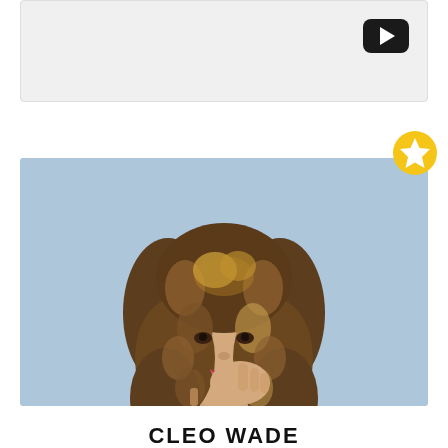[Figure (screenshot): Top portion of a UI card with a light gray background and a dark play button (YouTube-style) in the upper right corner]
[Figure (photo): Portrait photo of Cleo Wade, a woman with long curly highlighted blonde-brown hair, resting her chin on her hand, wearing a tan sleeveless top, against a light blue background. A gold star badge appears in the upper right corner of the card.]
CLEO WADE